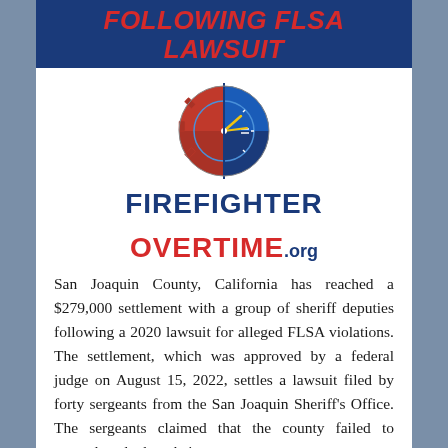Following FLSA Lawsuit
[Figure (logo): Firefighter Overtime logo: half red firefighter badge / half blue clock face with yellow clock hands, split vertically down the middle]
FIREFIGHTER OVERTIME.org
San Joaquin County, California has reached a $279,000 settlement with a group of sheriff deputies following a 2020 lawsuit for alleged FLSA violations. The settlement, which was approved by a federal judge on August 15, 2022, settles a lawsuit filed by forty sergeants from the San Joaquin Sheriff's Office. The sergeants claimed that the county failed to properly calculate their ...
Read More »